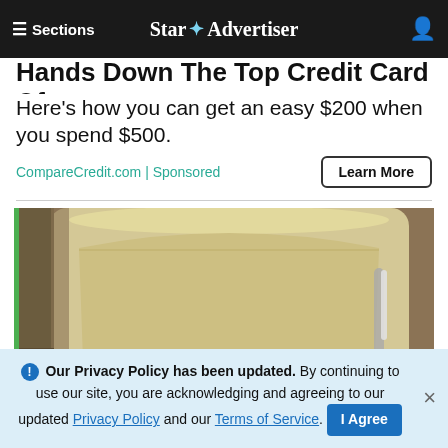≡ Sections  Star ✦ Advertiser
Hands Down The Top Credit Card Of...
Here's how you can get an easy $200 when you spend $500.
CompareCredit.com | Sponsored
[Figure (photo): Close-up photo of a cream/tan colored refrigerator with open freezer drawer, shot from above at an angle, with green border on left side.]
ⓘ Our Privacy Policy has been updated. By continuing to use our site, you are acknowledging and agreeing to our updated Privacy Policy and our Terms of Service. I Agree